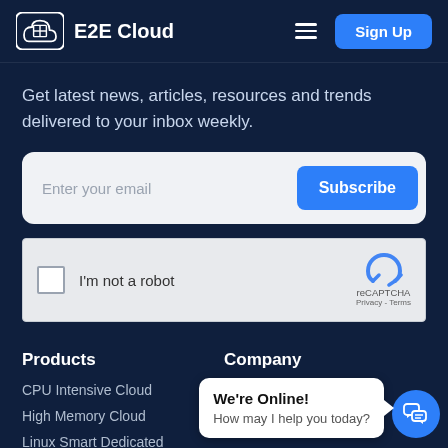E2E Cloud
Get latest news, articles, resources and trends delivered to your inbox weekly.
[Figure (screenshot): Email subscription form with text field placeholder 'Enter your email' and blue 'Subscribe' button]
[Figure (screenshot): reCAPTCHA widget with checkbox labeled 'I'm not a robot' and reCAPTCHA logo with Privacy - Terms links]
Products
Company
CPU Intensive Cloud
High Memory Cloud
Linux Smart Dedicated
Become a Partner
[Figure (screenshot): Chat widget popup with text 'We're Online! How may I help you today?' and blue chat icon button]